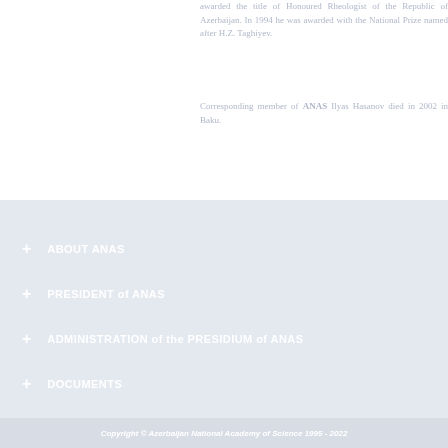awarded the title of Honoured Rheologist of the Republic of Azerbaijan. In 1994 he was awarded with the National Prize named after H.Z. Taghiyev.
Corresponding member of ANAS Ilyas Hasanov died in 2002 in Baku.
+ ABOUT ANAS
+ PRESIDENT of ANAS
+ ADMINISTRATION of the PRESIDIUM of ANAS
+ DOCUMENTS
+ TRIBUNE
Copyright © Azerbaijan National Academy of Science 1995 - 2022